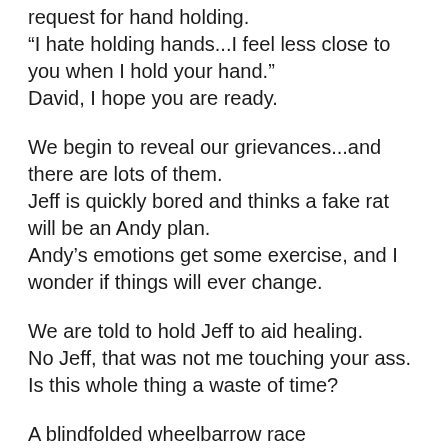request for hand holding.
"I hate holding hands...I feel less close to you when I hold your hand."
David, I hope you are ready.
We begin to reveal our grievances...and there are lots of them.
Jeff is quickly bored and thinks a fake rat will be an Andy plan.
Andy's emotions get some exercise, and I wonder if things will ever change.
We are told to hold Jeff to aid healing.
No Jeff, that was not me touching your ass.
Is this whole thing a waste of time?
A blindfolded wheelbarrow race
My navigation skills are nasty.
Jeff and I lose.